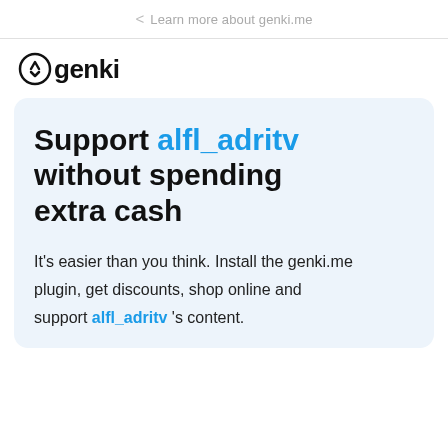< Learn more about genki.me
genki (logo)
Support alfl_adritv without spending extra cash
It's easier than you think. Install the genki.me plugin, get discounts, shop online and support alfl_adritv 's content.